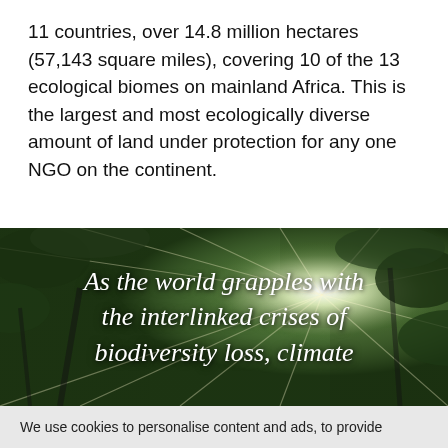11 countries, over 14.8 million hectares (57,143 square miles), covering 10 of the 13 ecological biomes on mainland Africa. This is the largest and most ecologically diverse amount of land under protection for any one NGO on the continent.
[Figure (photo): Forest canopy photo looking up at trees with bright sunlight starburst shining through the canopy, with green foliage. Overlaid italic white text reads: As the world grapples with the interlinked crises of biodiversity loss, climate]
We use cookies to personalise content and ads, to provide